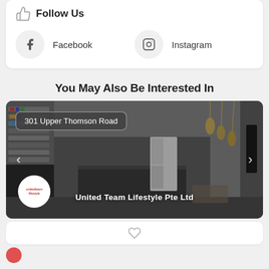Follow Us
Facebook
Instagram
You May Also Be Interested In
[Figure (photo): Interior photo of a modern apartment living and kitchen area with bookshelves, pendant lights, and dark cabinetry. Overlaid with address badge '301 Upper Thomson Road', company logo circle for United Team Lifestyle Pte Ltd, and carousel navigation arrows.]
United Team Lifestyle Pte Ltd
[Figure (other): White card with a heart/like icon in the center]